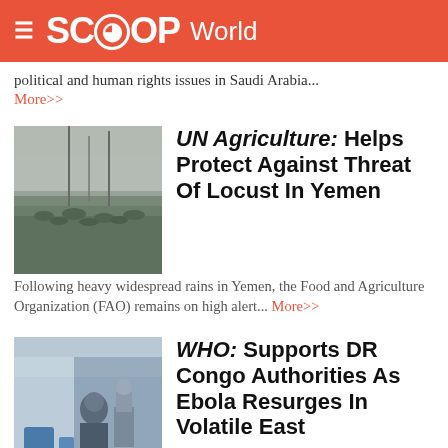SCOOP World
political and human rights issues in Saudi Arabia...
More>>
[Figure (photo): Crowd of people in a misty outdoor landscape, possibly a field or hilly terrain with fog]
UN Agriculture: Helps Protect Against Threat Of Locust In Yemen
Following heavy widespread rains in Yemen, the Food and Agriculture Organization (FAO) remains on high alert... More>>
[Figure (photo): Person in a tent or shelter setting, possibly a healthcare or humanitarian aid worker with equipment]
WHO: Supports DR Congo Authorities As Ebola Resurges In Volatile East
Ebola has resurfaced in the Democratic